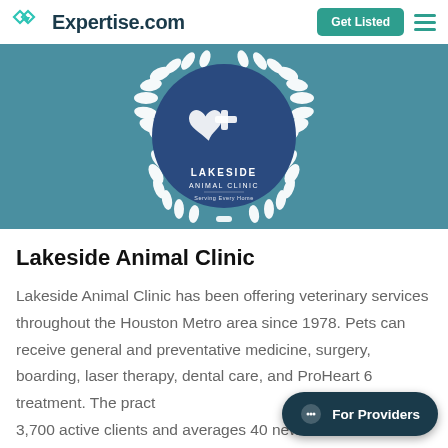Expertise.com | Get Listed
[Figure (logo): Lakeside Animal Clinic award badge — circular dark blue badge with heart/cross logo inside a white laurel wreath on teal background]
Lakeside Animal Clinic
Lakeside Animal Clinic has been offering veterinary services throughout the Houston Metro area since 1978. Pets can receive general and preventative medicine, surgery, boarding, laser therapy, dental care, and ProHeart 6 treatment. The practice has over 3,700 active clients and averages 40 new clients each